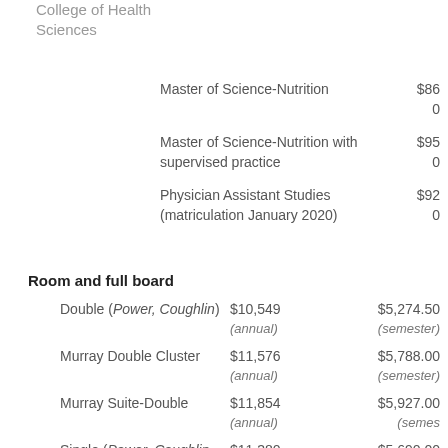College of Health Sciences
| Program | Amount |
| --- | --- |
| Master of Science-Nutrition | $860 |
| Master of Science-Nutrition with supervised practice | $950 |
| Physician Assistant Studies (matriculation January 2020) | $920 |
Room and full board
| Room Type | Annual | Semester |
| --- | --- | --- |
| Double (Power, Coughlin) | $10,549 (annual) | $5,274.50 (semester) |
| Murray Double Cluster | $11,576 (annual) | $5,788.00 (semester) |
| Murray Suite-Double | $11,854 (annual) | $5,927.00 (semester) |
| Single (Power, Coughlin, | $11,380 | $5,690.00 |